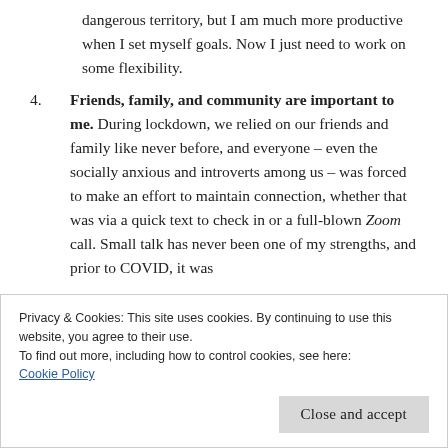picked up to prevent my brain straying into dangerous territory, but I am much more productive when I set myself goals. Now I just need to work on some flexibility.
4. Friends, family, and community are important to me. During lockdown, we relied on our friends and family like never before, and everyone – even the socially anxious and introverts among us – was forced to make an effort to maintain connection, whether that was via a quick text to check in or a full-blown Zoom call. Small talk has never been one of my strengths, and prior to COVID, it was
Privacy & Cookies: This site uses cookies. By continuing to use this website, you agree to their use.
To find out more, including how to control cookies, see here:
Cookie Policy